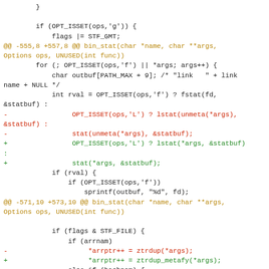Code diff showing changes to bin_stat function in a C source file, including modifications to OPT_ISSET, lstat, stat, ztrdup and ztrdup_metafy calls.